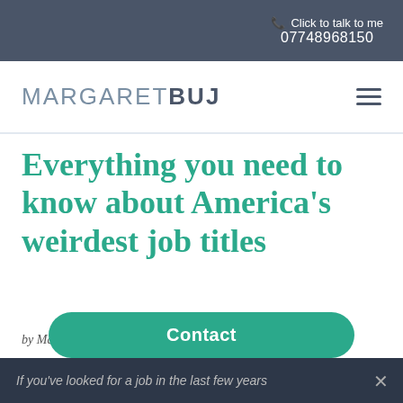Click to talk to me 07748968150
[Figure (logo): Margaret Buj logo with hamburger menu icon]
Everything you need to know about America's weirdest job titles
by Margaret Buj | Aug 11, 2020 | Blog | 0 comments
Contact
If you've looked for a job in the last few years